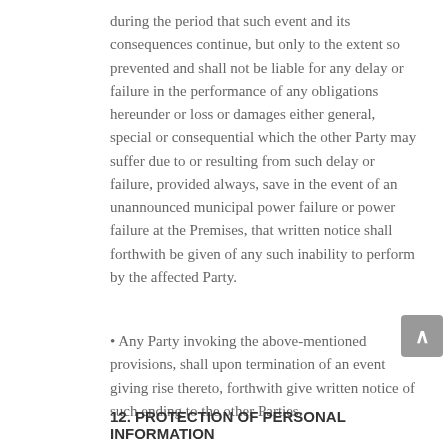during the period that such event and its consequences continue, but only to the extent so prevented and shall not be liable for any delay or failure in the performance of any obligations hereunder or loss or damages either general, special or consequential which the other Party may suffer due to or resulting from such delay or failure, provided always, save in the event of an unannounced municipal power failure or power failure at the Premises, that written notice shall forthwith be given of any such inability to perform by the affected Party.
• Any Party invoking the above-mentioned provisions, shall upon termination of an event giving rise thereto, forthwith give written notice of such ending to the other Parties.
12. PROTECTION OF PERSONAL INFORMATION